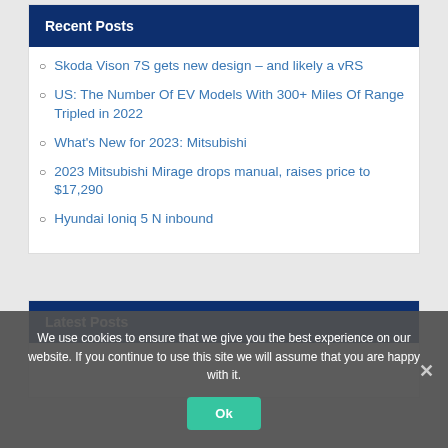Recent Posts
Skoda Vison 7S gets new design – and likely a vRS
US: The Number Of EV Models With 300+ Miles Of Range Tripled in 2022
What's New for 2023: Mitsubishi
2023 Mitsubishi Mirage drops manual, raises price to $17,290
Hyundai Ioniq 5 N inbound
Latest Posts
We use cookies to ensure that we give you the best experience on our website. If you continue to use this site we will assume that you are happy with it.